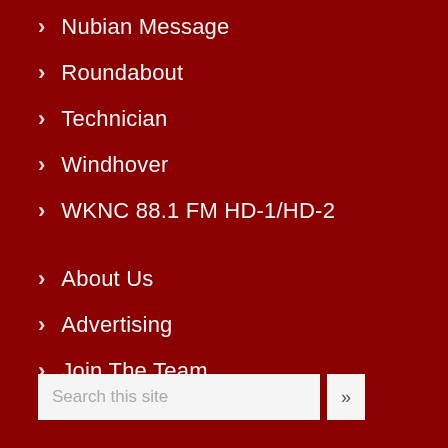Nubian Message
Roundabout
Technician
Windhover
WKNC 88.1 FM HD-1/HD-2
About Us
Advertising
Join The Team
Search this site